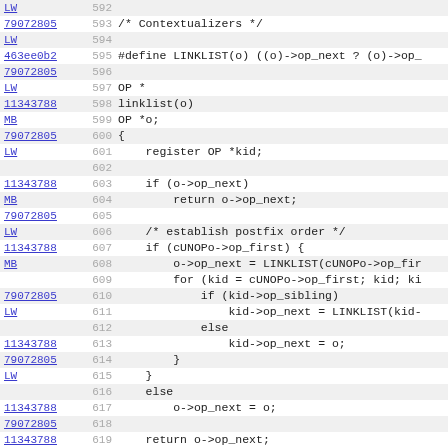Code listing lines 592-623, showing C source code for linklist and scalarkids functions with commit annotations (LW, MB, 79072805, 11343788, 463ee0b2)